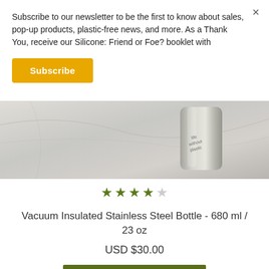Subscribe to our newsletter to be the first to know about sales, pop-up products, plastic-free news, and more. As a Thank You, receive our Silicone: Friend or Foe? booklet with
Subscribe
[Figure (photo): Close-up photo of a stainless steel vacuum insulated bottle on a marble surface, with text visible on the bottle]
★★★★☆
Vacuum Insulated Stainless Steel Bottle - 680 ml / 23 oz
USD $30.00
ADD TO BASKET